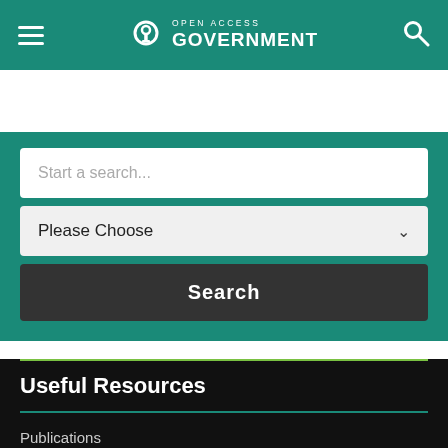Open Access Government
Start a search...
Please Choose
Search
Useful Resources
Publications
Stakeholders